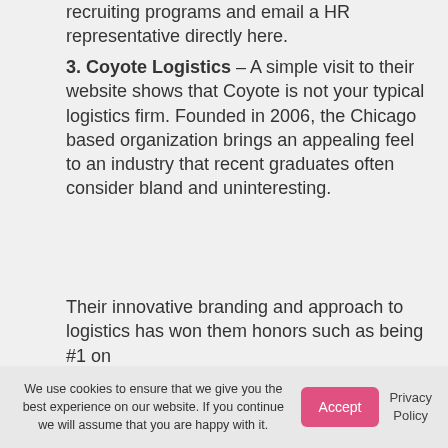recruiting programs and email a HR representative directly here.
3. Coyote Logistics – A simple visit to their website shows that Coyote is not your typical logistics firm. Founded in 2006, the Chicago based organization brings an appealing feel to an industry that recent graduates often consider bland and uninteresting.
Their innovative branding and approach to logistics has won them honors such as being #1 on
We use cookies to ensure that we give you the best experience on our website. If you continue we will assume that you are happy with it.